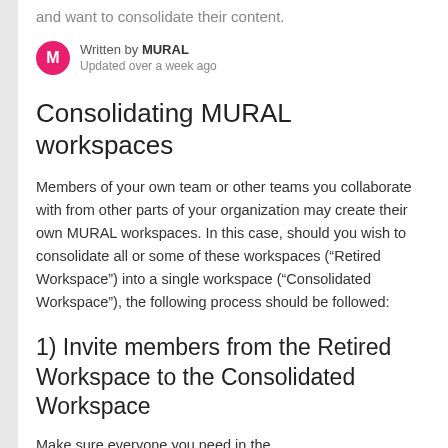and want to consolidate their content.
Written by MURAL
Updated over a week ago
Consolidating MURAL workspaces
Members of your own team or other teams you collaborate with from other parts of your organization may create their own MURAL workspaces. In this case, should you wish to consolidate all or some of these workspaces (“Retired Workspace”) into a single workspace (“Consolidated Workspace”), the following process should be followed:
1) Invite members from the Retired Workspace to the Consolidated Workspace
Make sure everyone you need in the